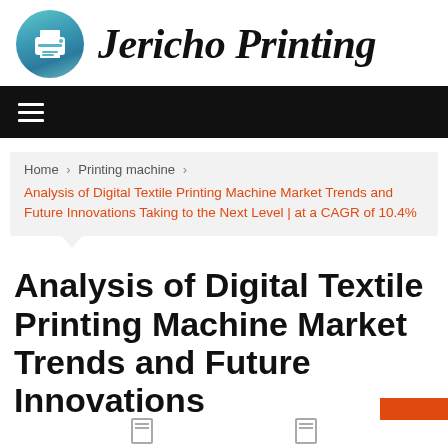[Figure (logo): Jericho Printing logo: a teal/blue gradient circle with a white printer icon, followed by italic serif text 'Jericho Printing']
[Figure (other): Black navigation bar with white hamburger menu icon (three horizontal lines)]
Home > Printing machine > Analysis of Digital Textile Printing Machine Market Trends and Future Innovations Taking to the Next Level | at a CAGR of 10.4%
Analysis of Digital Textile Printing Machine Market Trends and Future Innovations